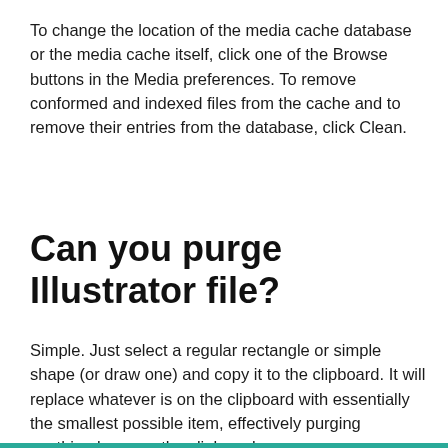To change the location of the media cache database or the media cache itself, click one of the Browse buttons in the Media preferences. To remove conformed and indexed files from the cache and to remove their entries from the database, click Clean.
Can you purge Illustrator file?
Simple. Just select a regular rectangle or simple shape (or draw one) and copy it to the clipboard. It will replace whatever is on the clipboard with essentially the smallest possible item, effectively purging anything large on the clipboard.